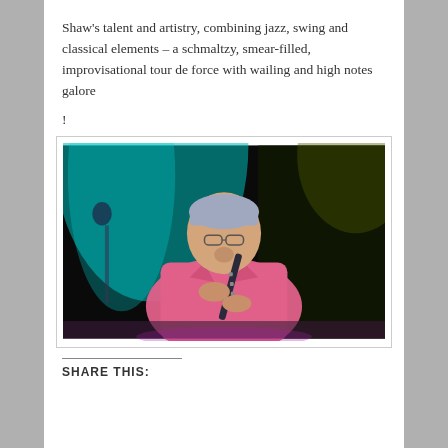Shaw’s talent and artistry, combining jazz, swing and classical elements – a schmaltzy, smear-filled, improvisational tour de force with wailing and high notes galore
!
[Figure (photo): A musician in a pink/salmon blazer playing a clarinet on stage, with teal and dark lighting in the background.]
SHARE THIS: